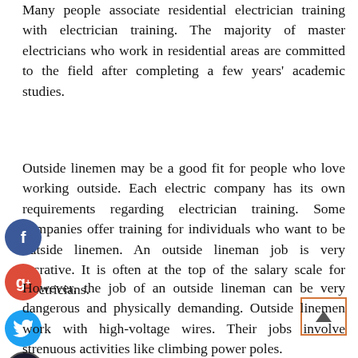Many people associate residential electrician training with electrician training. The majority of master electricians who work in residential areas are committed to the field after completing a few years' academic studies.
Outside linemen may be a good fit for people who love working outside. Each electric company has its own requirements regarding electrician training. Some companies offer training for individuals who want to be outside linemen. An outside lineman job is very lucrative. It is often at the top of the salary scale for electricians.
However, the job of an outside lineman can be very dangerous and physically demanding. Outside linemen work with high-voltage wires. Their jobs involve strenuous activities like climbing power poles.